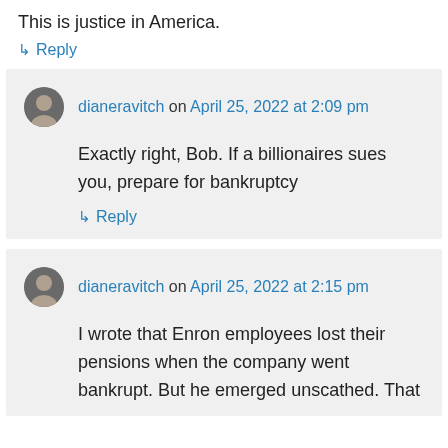This is justice in America.
↳ Reply
dianeravitch on April 25, 2022 at 2:09 pm
Exactly right, Bob. If a billionaires sues you, prepare for bankruptcy
↳ Reply
dianeravitch on April 25, 2022 at 2:15 pm
I wrote that Enron employees lost their pensions when the company went bankrupt. But he emerged unscathed. That